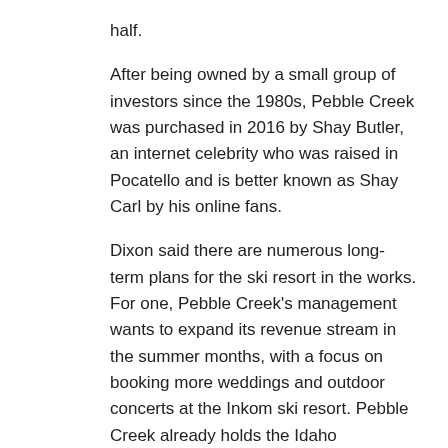half.
After being owned by a small group of investors since the 1980s, Pebble Creek was purchased in 2016 by Shay Butler, an internet celebrity who was raised in Pocatello and is better known as Shay Carl by his online fans.
Dixon said there are numerous long-term plans for the ski resort in the works. For one, Pebble Creek's management wants to expand its revenue stream in the summer months, with a focus on booking more weddings and outdoor concerts at the Inkom ski resort. Pebble Creek already holds the Idaho Wildflower and Music Festival every June.
Management also wants to create more opportunities for hiking and biking with new trails on the mountain. They are also looking to expand Pebble Creek's parking lot and widen the Outback Trail.
But some of these long-term projects are quite a few